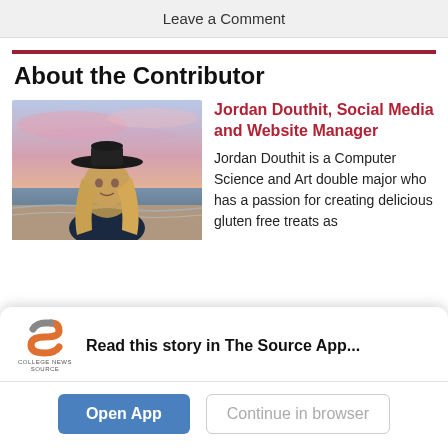Leave a Comment
About the Contributor
[Figure (photo): Photo of Jordan Douthit, a young woman wearing a wide-brimmed black hat and dark top, standing on a beach at sunset with pink and blue sky behind her.]
Jordan Douthit, Social Media and Website Manager
Jordan Douthit is a Computer Science and Art double major who has a passion for creating delicious gluten free treats as
[Figure (logo): College News Source app logo — stylized orange/grey S shape with text 'COLLEGE NEWS SOURCE' below.]
Read this story in The Source App...
Open App
Continue in browser